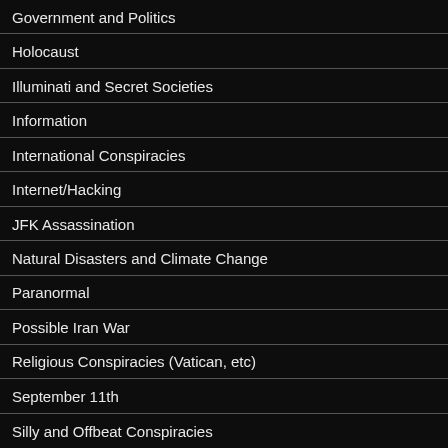Government and Politics
Holocaust
Illuminati and Secret Societies
Information
International Conspiracies
Internet/Hacking
JFK Assassination
Natural Disasters and Climate Change
Paranormal
Possible Iran War
Religious Conspiracies (Vatican, etc)
September 11th
Silly and Offbeat Conspiracies